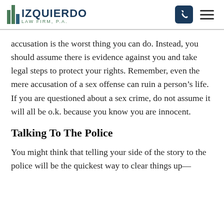[Figure (logo): Izquierdo Law Firm, P.A. logo with green bar chart icon and navigation phone/menu icons]
accusation is the worst thing you can do. Instead, you should assume there is evidence against you and take legal steps to protect your rights. Remember, even the mere accusation of a sex offense can ruin a person’s life. If you are questioned about a sex crime, do not assume it will all be o.k. because you know you are innocent.
Talking To The Police
You might think that telling your side of the story to the police will be the quickest way to clear things up—